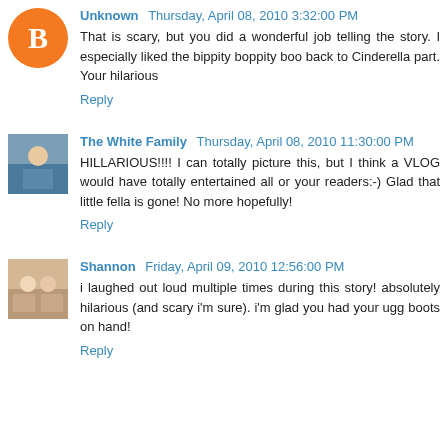Unknown Thursday, April 08, 2010 3:32:00 PM
That is scary, but you did a wonderful job telling the story. I especially liked the bippity boppity boo back to Cinderella part. Your hilarious
Reply
The White Family Thursday, April 08, 2010 11:30:00 PM
HILLARIOUS!!!! I can totally picture this, but I think a VLOG would have totally entertained all or your readers:-) Glad that little fella is gone! No more hopefully!
Reply
Shannon Friday, April 09, 2010 12:56:00 PM
i laughed out loud multiple times during this story! absolutely hilarious (and scary i'm sure). i'm glad you had your ugg boots on hand!
Reply